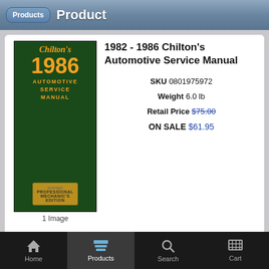Products  Product
[Figure (photo): Chilton's 1986 Automotive Service Manual book cover, dark green with orange text]
1 Image
1982 - 1986 Chilton's Automotive Service Manual
SKU  0801975972
Weight  6.0 lb
Retail Price  $75.00
ON SALE  $61.95
Qty
1
Add to Cart
This book may be in used condition.
Chilton 1982-1986 Auto Service Manual
Designed for the professional technician, Nichols Publishing's Chilton Service Manuals are comprehensive and technically detailed, offering TOTAL maintenance, service and repair information for the automotive professional. Information is provided in an easy-to-read format, supported by quick-reference sections, as well as exploded view illustrations, diagrams and charts.
Home  Products  Search  Cart